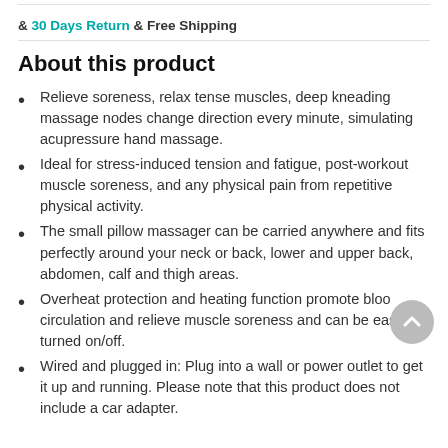& 30 Days Return & Free Shipping
About this product
Relieve soreness, relax tense muscles, deep kneading massage nodes change direction every minute, simulating acupressure hand massage.
Ideal for stress-induced tension and fatigue, post-workout muscle soreness, and any physical pain from repetitive physical activity.
The small pillow massager can be carried anywhere and fits perfectly around your neck or back, lower and upper back, abdomen, calf and thigh areas.
Overheat protection and heating function promote blood circulation and relieve muscle soreness and can be easily turned on/off.
Wired and plugged in: Plug into a wall or power outlet to get it up and running. Please note that this product does not include a car adapter.